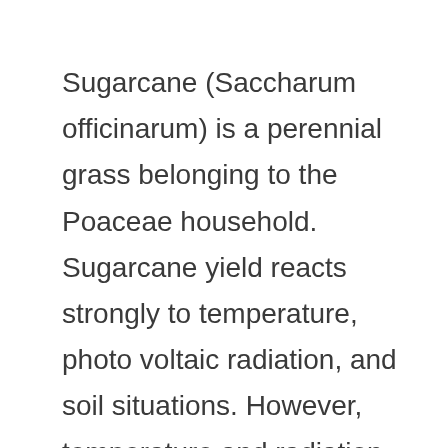Sugarcane (Saccharum officinarum) is a perennial grass belonging to the Poaceae household. Sugarcane yield reacts strongly to temperature, photo voltaic radiation, and soil situations. However, temperature and radiation are past human management within the open area. Therefore, drip irrigation performs an important position. It controls each drop of water flowing in direction of the crop on the proper time, with prime quality of manufacturing and excessive sucrose content material, and extends the flowers. Let's try the